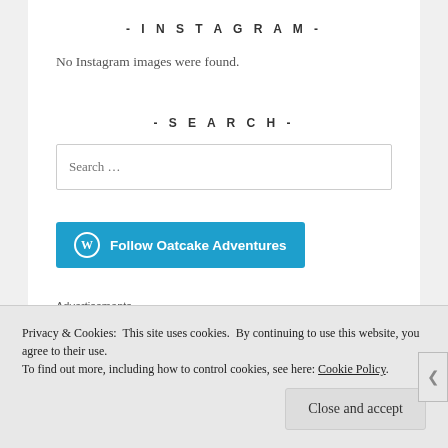- INSTAGRAM -
No Instagram images were found.
- SEARCH -
Search …
Follow Oatcake Adventures
Advertisements
Privacy & Cookies: This site uses cookies. By continuing to use this website, you agree to their use.
To find out more, including how to control cookies, see here: Cookie Policy
Close and accept